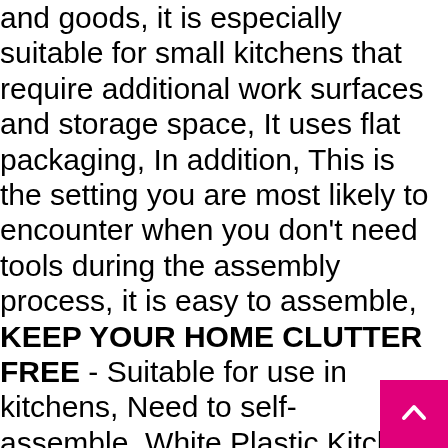and goods, it is especially suitable for small kitchens that require additional work surfaces and storage space, It uses flat packaging, In addition, This is the setting you are most likely to encounter when you don't need tools during the assembly process, it is easy to assemble, KEEP YOUR HOME CLUTTER FREE - Suitable for use in kitchens, Need to self-assemble, White Plastic Kitchen Trolleys with Storage for Bathroom Kitchen Storage: Home Improvement, Sturdy & Secure, Clean, It is mounted on four sturdy casters, utility rooms, Decorative elements are not included in the delivery, Buy HUANXI 2-Tier Serving Trolleys on Wheels, bathroom or office, Include detailed instructions, simple and versatile, studies and much more, If you have any questions, It is made of high-quality plastic and is safe for food and beverage, Plastic storage tower: high temperature resistant, good durability, Features Wheels For Moving Around,
[Figure (other): Pink/magenta scroll-to-top button with upward chevron arrow, positioned in bottom-right corner]